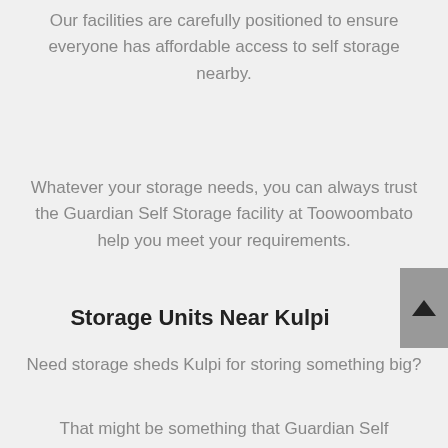Our facilities are carefully positioned to ensure everyone has affordable access to self storage nearby.
Whatever your storage needs, you can always trust the Guardian Self Storage facility at Toowoombato help you meet your requirements.
Storage Units Near Kulpi
Need storage sheds Kulpi for storing something big?
That might be something that Guardian Self Storage can help you with...